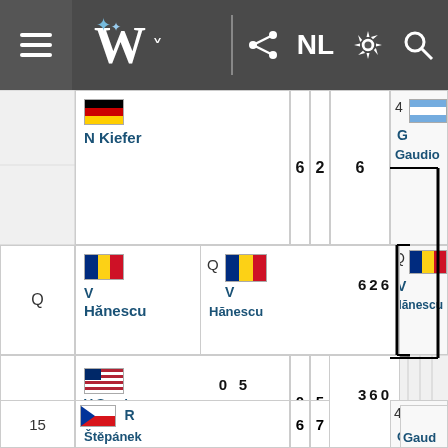[Figure (screenshot): Wikipedia mobile app navigation bar with hamburger menu, Wikipedia W logo, share icon, NL language selector, settings gear, and search icon]
[Figure (infographic): Tennis tournament bracket showing match results. Players include N Kiefer (Germany, seeded), V Hanescu (Romania, Q), A Calleri (Argentina), V Spadea (USA), R Stepanek (Czech, 15), G Gaudio (Argentina, 4). Scores shown for each match.]